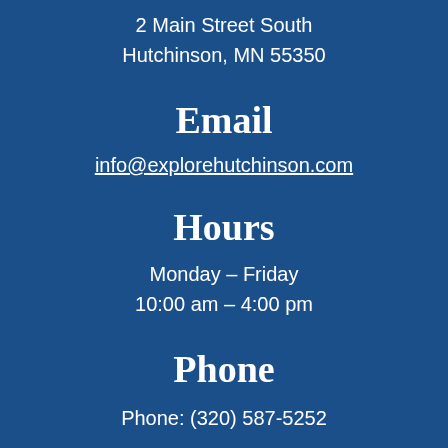2 Main Street South
Hutchinson, MN 55350
Email
info@explorehutchinson.com
Hours
Monday – Friday
10:00 am – 4:00 pm
Phone
Phone: (320) 587-5252